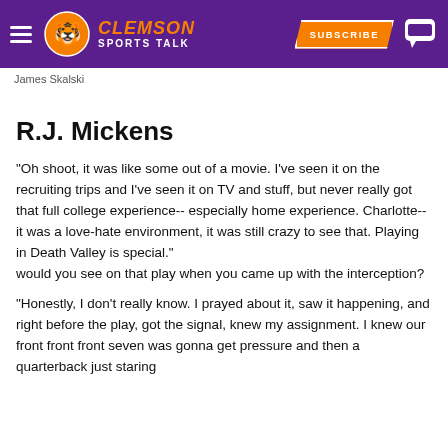Clemson Sports Talk — SUBSCRIBE
James Skalski
R.J. Mickens
"Oh shoot, it was like some out of a movie. I've seen it on the recruiting trips and I've seen it on TV and stuff, but never really got that full college experience-- especially home experience. Charlotte-- it was a love-hate environment, it was still crazy to see that. Playing in Death Valley is special."
would you see on that play when you came up with the interception?
"Honestly, I don't really know. I prayed about it, saw it happening, and right before the play, got the signal, knew my assignment. I knew our front front front seven was gonna get pressure and then a quarterback just staring